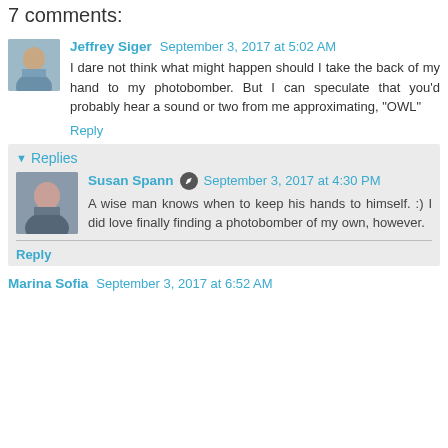7 comments:
Jeffrey Siger  September 3, 2017 at 5:02 AM
I dare not think what might happen should I take the back of my hand to my photobomber. But I can speculate that you'd probably hear a sound or two from me approximating, "OWL"
Reply
Replies
Susan Spann  September 3, 2017 at 4:30 PM
A wise man knows when to keep his hands to himself. :) I did love finally finding a photobomber of my own, however.
Reply
Marina Sofia  September 3, 2017 at 6:52 AM